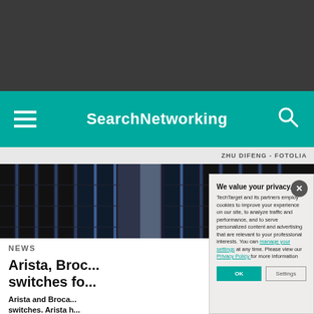SearchNetworking
ZHU DIFENG - FOTOLIA
[Figure (photo): Dark server room with rack-mounted networking equipment]
NEWS
Arista, Brocade roll out switches for...
Arista and Brocade roll out switches. Arista h... added network au...
We value your privacy.
TechTarget and its partners employ cookies to improve your experience on our site, to analyze traffic and performance, and to serve personalized content and advertising that are relevant to your professional interests. You can manage your settings at any time. Please view our Privacy Policy for more information